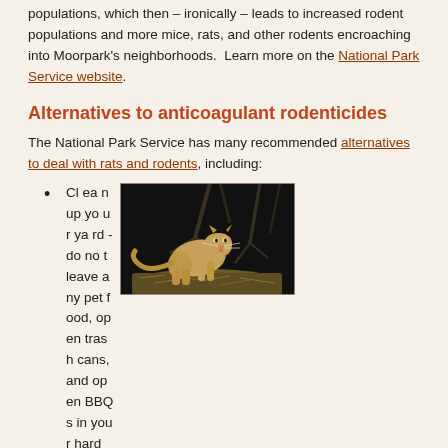populations, which then – ironically – leads to increased rodent populations and more mice, rats, and other rodents encroaching into Moorpark's neighborhoods.  Learn more on the National Park Service website.
Alternatives to anticoagulant rodenticides
The National Park Service has many recommended alternatives to deal with rats and rodents, including:
Clean up your yard - do not leave any pet food, open trash cans, and open BBQs in your hard
[Figure (photo): A mountain lion (cougar) standing on dry grass at night, photographed in dark surroundings with bare tree branches in the background.]
Seal up your home - seal up holes and cracks into your house, attic, and garage using 1/4-inch wire,